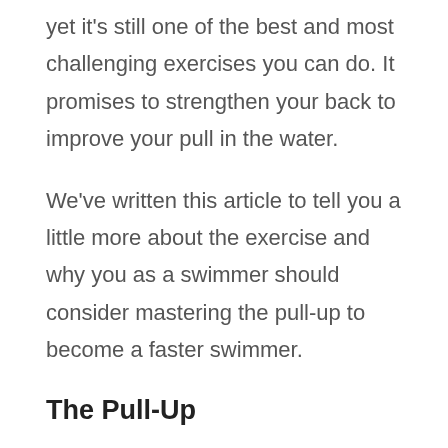yet it's still one of the best and most challenging exercises you can do. It promises to strengthen your back to improve your pull in the water.
We've written this article to tell you a little more about the exercise and why you as a swimmer should consider mastering the pull-up to become a faster swimmer.
The Pull-Up
A pull-up is an exercise performed to gain strength in your back muscles, lats, and your shoulder muscles.